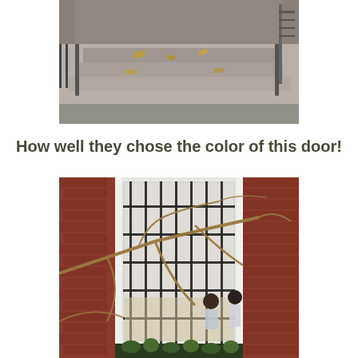[Figure (photo): Outdoor steps/staircase of a brick building with fallen leaves, metal railings visible.]
How well they chose the color of this door!
[Figure (photo): Red brick building facade with a tall white-framed window with black metal bars/grille. Bare tree branches in foreground, people visible inside through the window, green plants at the bottom.]